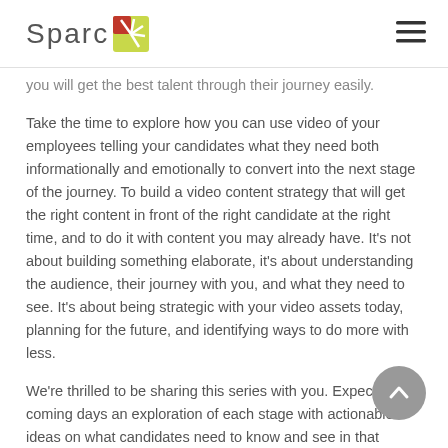Sparc
you will get the best talent through their journey easily.
Take the time to explore how you can use video of your employees telling your candidates what they need both informationally and emotionally to convert into the next stage of the journey. To build a video content strategy that will get the right content in front of the right candidate at the right time, and to do it with content you may already have. It's not about building something elaborate, it's about understanding the audience, their journey with you, and what they need to see. It's about being strategic with your video assets today, planning for the future, and identifying ways to do more with less.
We're thrilled to be sharing this series with you. Expect in the coming days an exploration of each stage with actionable ideas on what candidates need to know and see in that stage. Plus, you can always download our framework to build your own candidate video strategic framework. Put in a little time with the framework and before you know it you have a